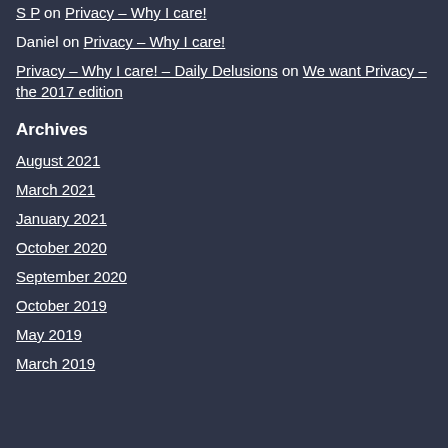S P on Privacy – Why I care!
Daniel on Privacy – Why I care!
Privacy – Why I care! – Daily Delusions on We want Privacy – the 2017 edition
Archives
August 2021
March 2021
January 2021
October 2020
September 2020
October 2019
May 2019
March 2019